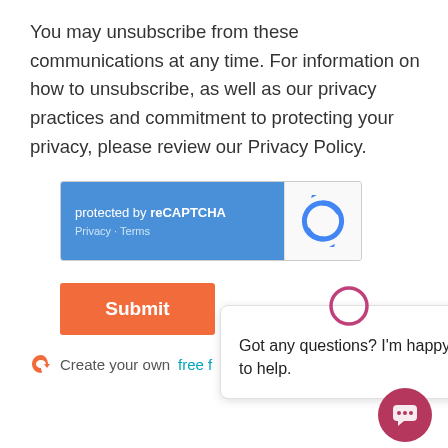You may unsubscribe from these communications at any time. For information on how to unsubscribe, as well as our privacy practices and commitment to protecting your privacy, please review our Privacy Policy.
[Figure (other): reCAPTCHA widget: blue left panel with text 'protected by reCAPTCHA' and 'Privacy · Terms', white right panel with reCAPTCHA logo arrows]
[Figure (other): Orange Submit button]
Create your own free f...
[Figure (other): Chat popup overlay with circular outline icon and message: 'Got any questions? I'm happy to help.' with X close button]
[Figure (photo): Bottom portion showing a modern building interior with glass ceiling, string lights, and trees visible]
[Figure (other): Pink/rose chat button at bottom right]